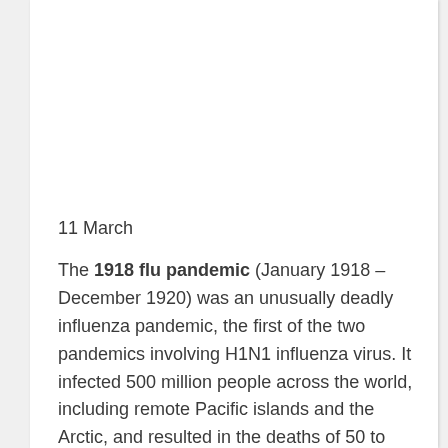11 March
The 1918 flu pandemic (January 1918 – December 1920) was an unusually deadly influenza pandemic, the first of the two pandemics involving H1N1 influenza virus. It infected 500 million people across the world, including remote Pacific islands and the Arctic, and resulted in the deaths of 50 to 100 million (three to five percent of the world's population), making it one of the deadliest natural disasters in human history.